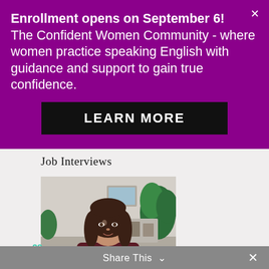Enrollment opens on September 6! The Confident Women Community - where women practice speaking English with guidance and support to gain true confidence.
LEARN MORE
Job Interviews
[Figure (photo): A woman with brown hair wearing a dark maroon top, sitting in front of a blurred background with plants and a bookshelf, appearing to speak or present. A teal chat icon and badge '29' are visible in the lower left corner.]
Share This ∨